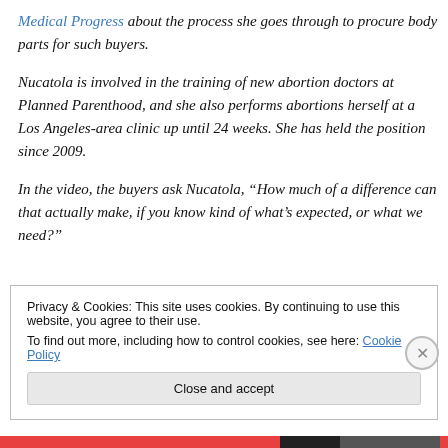Medical Progress about the process she goes through to procure body parts for such buyers.
Nucatola is involved in the training of new abortion doctors at Planned Parenthood, and she also performs abortions herself at a Los Angeles-area clinic up until 24 weeks. She has held the position since 2009.
In the video, the buyers ask Nucatola, “How much of a difference can that actually make, if you know kind of what’s expected, or what we need?”
Privacy & Cookies: This site uses cookies. By continuing to use this website, you agree to their use.
To find out more, including how to control cookies, see here: Cookie Policy